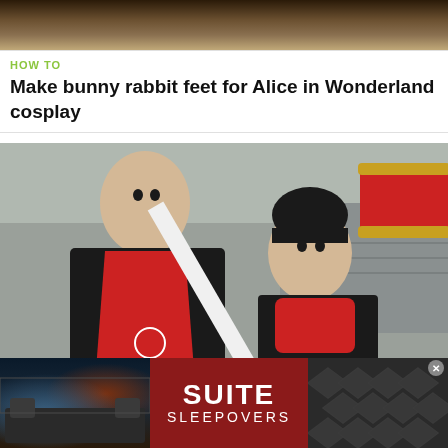[Figure (photo): Top cropped image strip showing wood/brown texture background]
HOW TO
Make bunny rabbit feet for Alice in Wonderland cosplay
[Figure (photo): Two men in red aprons and black clothing outdoors, one holding a giant red and gold Picopico hammer prop]
HOW TO
Make a giant Picopico hammer for cosplay like Amy Rose
[Figure (photo): Advertisement banner: Suite Sleepovers with hotel room photo on left, red center with text, diamond pattern on right]